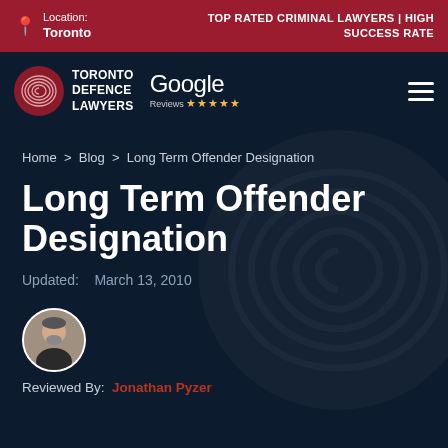Location: Toronto | TOP RATED CRIMINAL LAWYERS | HIGH SUCCESS RATE
[Figure (logo): Toronto Defence Lawyers logo with fingerprint icon and Google Reviews 5-star badge]
Home > Blog > Long Term Offender Designation
Long Term Offender Designation
Updated: March 13, 2010
[Figure (photo): Circular headshot of reviewer Jonathan Pyzer]
Reviewed By: Jonathan Pyzer